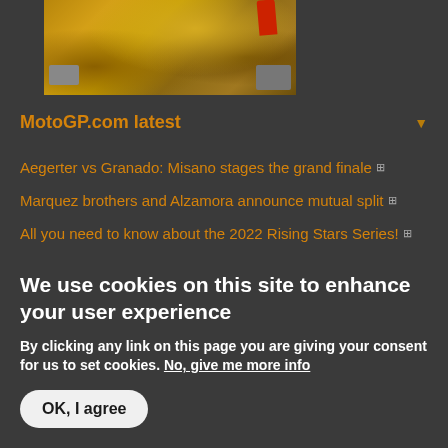[Figure (photo): Close-up photo of a motorcycle wheel/tire with sand and a red boot visible, with silver mechanical parts]
MotoGP.com latest
Aegerter vs Granado: Misano stages the grand finale
Marquez brothers and Alzamora announce mutual split
All you need to know about the 2022 Rising Stars Series!
All aboard the Bagnaia express at Misano?
We use cookies on this site to enhance your user experience
By clicking any link on this page you are giving your consent for us to set cookies. No, give me more info
OK, I agree